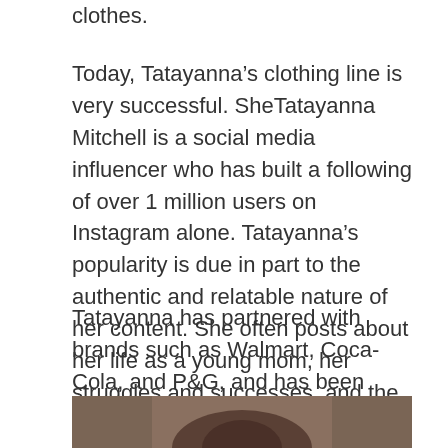clothes.
Today, Tatayanna’s clothing line is very successful. SheTatayanna Mitchell is a social media influencer who has built a following of over 1 million users on Instagram alone. Tatayanna’s popularity is due in part to the authentic and relatable nature of her content. She often posts about her life as a young mom, her struggles and successes, and the lessons she’s learning along the way.
Tatayanna has partnered with brands such as Walmart, Coca-Cola, and P&G, and has been featured in publications such as Essence and Huffington Post.
[Figure (photo): Bottom portion of a photograph, showing what appears to be a person, partially visible at the bottom of the page.]